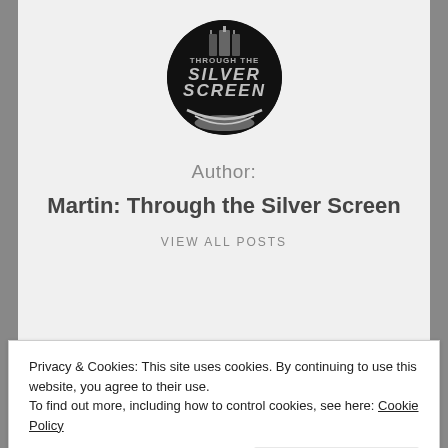[Figure (logo): Circular black logo with silver/grey text reading 'Through the Silver Screen' with building silhouettes]
Author:
Martin: Through the Silver Screen
VIEW ALL POSTS
TAGGED: 2017, Christopher Nolan, Cillian Murphy,
Privacy & Cookies: This site uses cookies. By continuing to use this website, you agree to their use.
To find out more, including how to control cookies, see here: Cookie Policy
Close and accept